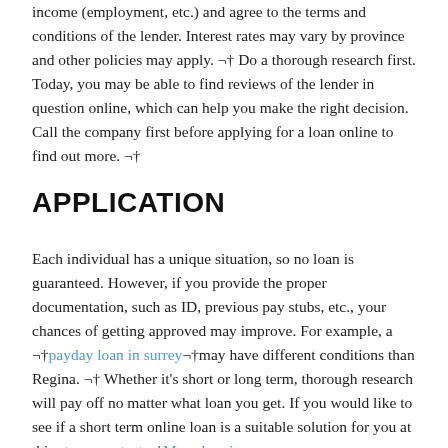income (employment, etc.) and agree to the terms and conditions of the lender. Interest rates may vary by province and other policies may apply. ¬† Do a thorough research first. Today, you may be able to find reviews of the lender in question online, which can help you make the right decision. Call the company first before applying for a loan online to find out more. ¬†
APPLICATION
Each individual has a unique situation, so no loan is guaranteed. However, if you provide the proper documentation, such as ID, previous pay stubs, etc., your chances of getting approved may improve. For example, a ¬†payday loan in surrey¬†may have different conditions than Regina. ¬† Whether it's short or long term, thorough research will pay off no matter what loan you get. If you would like to see if a short term online loan is a suitable solution for you at this stage, contact ¬†My salary in